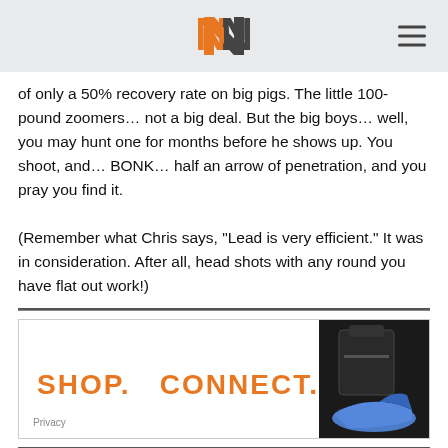N logo and hamburger menu
of only a 50% recovery rate on big pigs. The little 100-pound zoomers… not a big deal. But the big boys… well, you may hunt one for months before he shows up. You shoot, and… BONK… half an arrow of penetration, and you pray you find it.

(Remember what Chris says, "Lead is very efficient." It was in consideration. After all, head shots with any round you have flat out work!)
[Figure (other): Advertisement banner with text SHOP. CONNECT. ENJOY. in orange and product image on the right with Privacy label at bottom left]
Draw length made easy with THIS calculator!